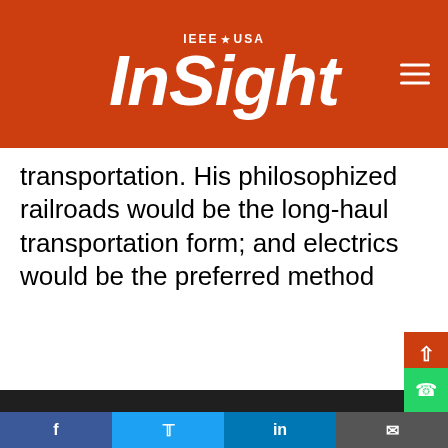IEEE USA InSight
transportation. His philosophized railroads would be the long-haul transportation form; and electrics would be the preferred method
IEEE websites place cookies on your device to give you the best user experience. By using our websites, you agree to the placement of these cookies. To learn more, read our Privacy Policy.
Accept & Close
d
soline
o
nd
Social share bar